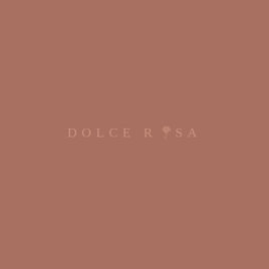[Figure (logo): Dolce Rosa brand logo on terracotta/mauve brown background. The text reads 'DOLCE ROSA' in spaced serif capitals in a muted rose/pink color, with a small rose illustration replacing the 'O' in 'ROSA'.]